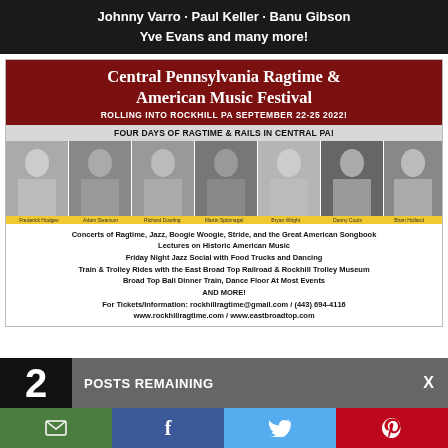Johnny Varro · Paul Keller · Banu Gibson
Yve Evans and many more!
[Figure (infographic): Central Pennsylvania Ragtime & American Music Festival advertisement. Dark red header with title, performers photo strip, yellow names strip, white body with event details and contact information.]
2  POSTS REMAINING  X
SUBSCRIBE
[Figure (infographic): Social sharing bar with email, Facebook, Twitter, and Pinterest icons]